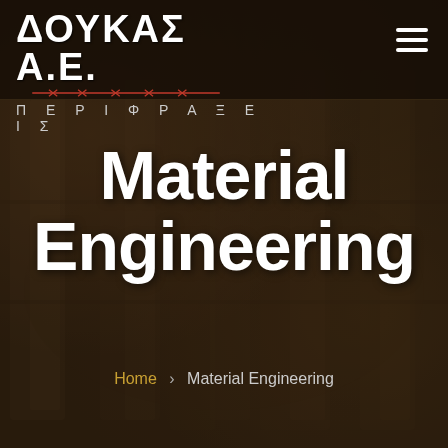[Figure (screenshot): Website header and hero section for ΔΟΥΚΑΣ Α.Ε. ΠΕΡΙΦΡΑΞΕΙΣ (Doukas A.E. Perifraxeis) fencing company, showing a blurred dark background with product shelves, a white bold logo, hamburger menu icon, and central page title 'Material Engineering' with breadcrumb navigation below.]
ΔΟΥΚΑΣ Α.Ε. ΠΕΡΙΦΡΑΞΕΙΣ
Material Engineering
Home > Material Engineering